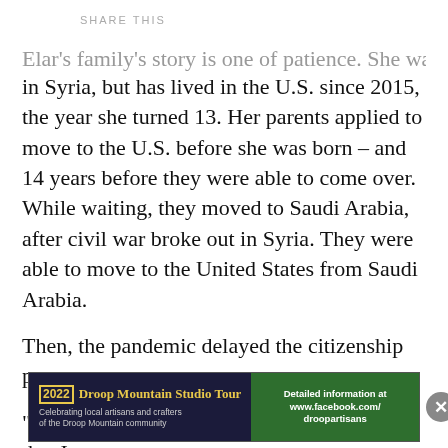SHARE THIS
Elar's family's story is one of patience. She was born in Syria, but has lived in the U.S. since 2015, the year she turned 13. Her parents applied to move to the U.S. before she was born – and 14 years before they were able to come over. While waiting, they moved to Saudi Arabia, after civil war broke out in Syria. They were able to move to the United States from Saudi Arabia.

Then, the pandemic delayed the citizenship process.

“The thing that bothered me the most was that I
[Figure (infographic): Advertisement banner for 2022 Droop Mountain Studio Tour. Dark navy background on left with yellow text '2022 Droop Mountain Studio Tour' and subtitle 'Celebrating local artisans and crafters of the Droop Mountain community'. Green section on right with bold white text 'Detailed information at www.facebook.com/droopartisans'. Close button (X) on far right.]